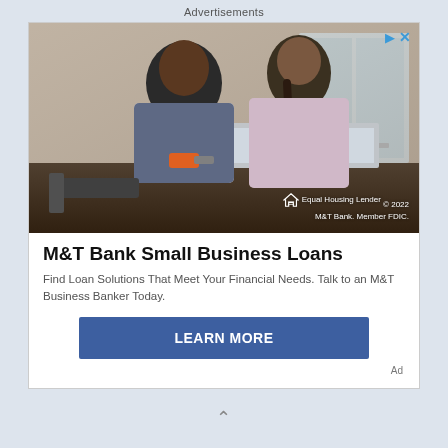Advertisements
[Figure (photo): Two people (a man and a woman) leaning over a laptop on a workbench in what appears to be a home renovation setting. The man is holding a power drill. Lower right overlay reads: Equal Housing Lender © 2022 M&T Bank. Member FDIC.]
M&T Bank Small Business Loans
Find Loan Solutions That Meet Your Financial Needs. Talk to an M&T Business Banker Today.
LEARN MORE
Ad